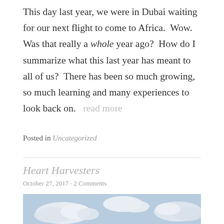This day last year, we were in Dubai waiting for our next flight to come to Africa.  Wow.  Was that really a whole year ago?  How do I summarize what this last year has meant to all of us?  There has been so much growing, so much learning and many experiences to look back on.    read more
Posted in Uncategorized
Heart Harvesters
October 27, 2017 · 2 Comments
[Figure (photo): Sky with white clouds on light blue background]